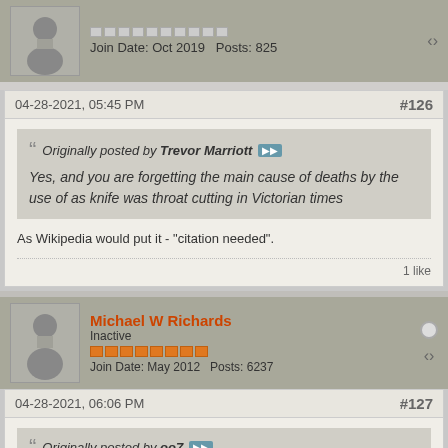Join Date: Oct 2019   Posts: 825
04-28-2021, 05:45 PM   #126
Originally posted by Trevor Marriott
Yes, and you are forgetting the main cause of deaths by the use of as knife was throat cutting in Victorian times
As Wikipedia would put it - "citation needed".
1 like
Michael W Richards
Inactive
Join Date: May 2012   Posts: 6237
04-28-2021, 06:06 PM   #127
Originally posted by oo7